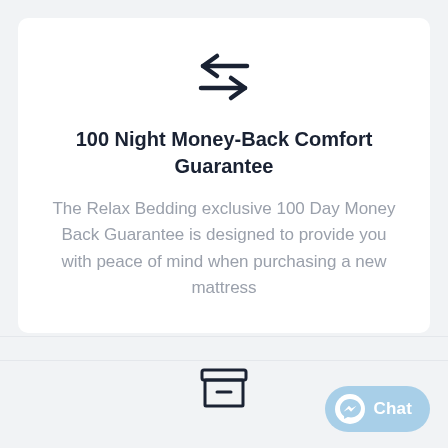[Figure (illustration): Two horizontal arrows pointing in opposite directions (left and right), dark navy color, stacked vertically with slight offset]
100 Night Money-Back Comfort Guarantee
The Relax Bedding exclusive 100 Day Money Back Guarantee is designed to provide you with peace of mind when purchasing a new mattress
[Figure (illustration): Archive/box icon with a rectangular box shape and a horizontal line inside, dark navy outline style]
[Figure (illustration): Chat button with Facebook Messenger icon and the word Chat, light blue rounded rectangle button]